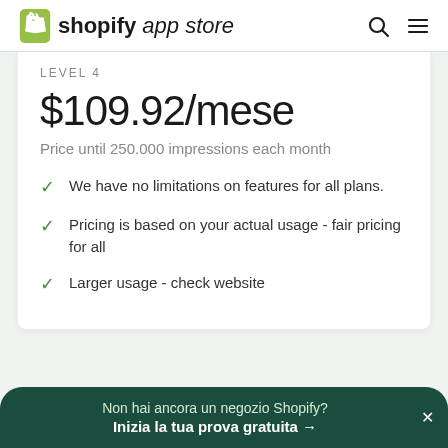shopify app store
LEVEL 4
$109.92/mese
Price until 250.000 impressions each month
We have no limitations on features for all plans.
Pricing is based on your actual usage - fair pricing for all
Larger usage - check website
Non hai ancora un negozio Shopify? Inizia la tua prova gratuita →